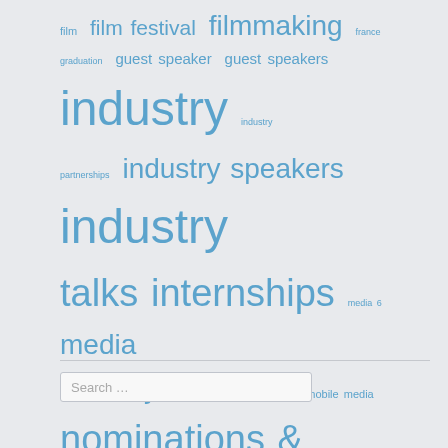[Figure (infographic): Tag cloud with various media and education related tags in different sizes, all in blue color on light gray background. Tags include: film, film festival, filmmaking, france, graduation, guest speaker, guest speakers, industry, industry partnerships, industry speakers, industry talks, internships, media 6, media industry, media studio, MINA, mobile media, nominations & awards, opportunities, public broadcast, radio, screencultures, research lab, seminars, short film, social media, social shorts, straya, student achievements, students, studios, study tours, sue maslin, Tropfest, video]
Search ...